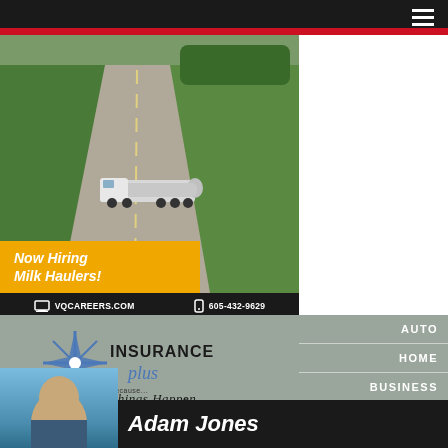Navigation bar with hamburger menu
[Figure (photo): Aerial photo of a milk tanker truck driving down a rural road flanked by green corn fields and trees. Above the photo is a banner reading WE MAKE DAIRY.]
Now Hiring Milk Haulers!
VQCAREERS.COM   605-432-9629
[Figure (logo): Insurance Plus logo with a blue star/compass graphic and tagline Because... Things Happen]
AUTO
HOME
BUSINESS
FARM
[Figure (photo): Partial photo of a person (Adam Jones) from shoulders up against a blue background]
Adam Jones